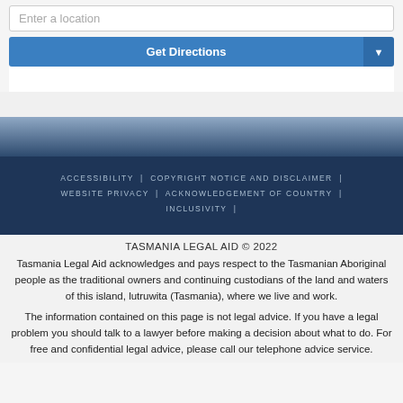Enter a location
Get Directions
ACCESSIBILITY | COPYRIGHT NOTICE AND DISCLAIMER | WEBSITE PRIVACY | ACKNOWLEDGEMENT OF COUNTRY | INCLUSIVITY |
TASMANIA LEGAL AID © 2022
Tasmania Legal Aid acknowledges and pays respect to the Tasmanian Aboriginal people as the traditional owners and continuing custodians of the land and waters of this island, lutruwita (Tasmania), where we live and work.
The information contained on this page is not legal advice. If you have a legal problem you should talk to a lawyer before making a decision about what to do. For free and confidential legal advice, please call our telephone advice service.